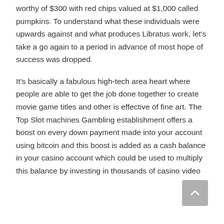worthy of $300 with red chips valued at $1,000 called pumpkins. To understand what these individuals were upwards against and what produces Libratus work, let's take a go again to a period in advance of most hope of success was dropped.
It's basically a fabulous high-tech area heart where people are able to get the job done together to create movie game titles and other is effective of fine art. The Top Slot machines Gambling establishment offers a boost on every down payment made into your account using bitcoin and this boost is added as a cash balance in your casino account which could be used to multiply this balance by investing in thousands of casino video